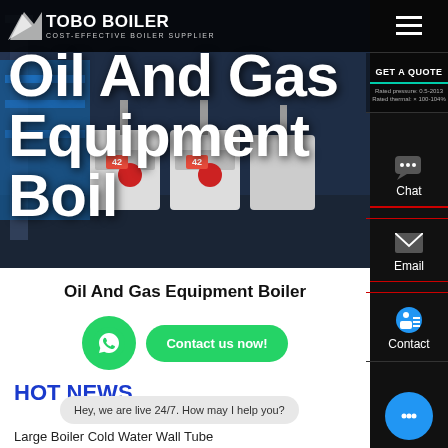[Figure (screenshot): TOBO BOILER website header with logo, navigation bar, hamburger menu, and hero image of industrial boilers]
Oil And Gas Equipment Boiler
[Figure (screenshot): Side panel with Chat, Email, and Contact buttons on dark background]
Oil And Gas Equipment Boiler
[Figure (logo): WhatsApp green circle icon and Contact us now! green button]
HOT NEWS
Hey, we are live 24/7. How may I help you?
Large Boiler Cold Water Wall Tube